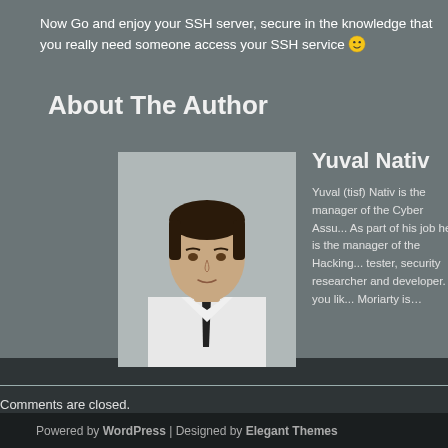Now Go and enjoy your SSH server, secure in the knowledge that you really need someone access your SSH service 🙂
About The Author
Yuval Nativ
[Figure (photo): Headshot photo of Yuval Nativ, a young man in a white shirt and dark tie]
Yuval (tisf) Nativ is the manager of the Cyber Assu... As part of his job he is the manager of the Hacking... tester, security researcher and developer. If you lik... Moriarty is…
Comments are closed.
Powered by WordPress | Designed by Elegant Themes